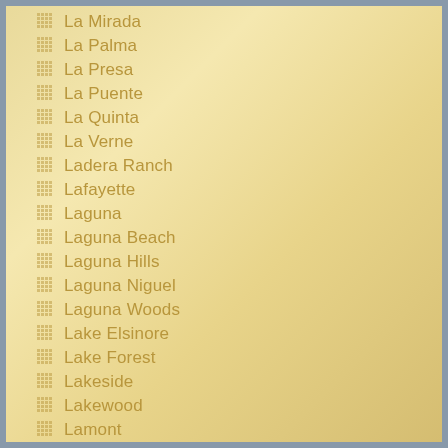La Mirada
La Palma
La Presa
La Puente
La Quinta
La Verne
Ladera Ranch
Lafayette
Laguna
Laguna Beach
Laguna Hills
Laguna Niguel
Laguna Woods
Lake Elsinore
Lake Forest
Lakeside
Lakewood
Lamont
Lancaster
Lathrop
Lawndale
Lemon Grove